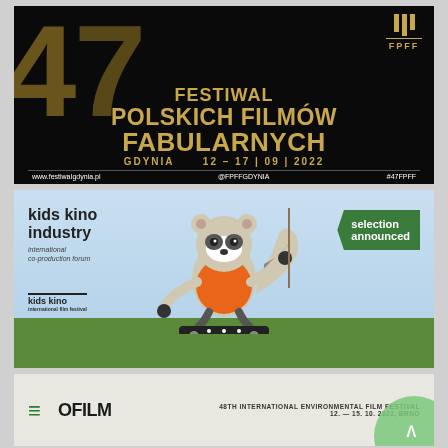[Figure (illustration): FPFF - Festiwal Polskich Filmów Fabularnych poster. Black background with gold text. Title: FESTIWAL POLSKICH FILMÓW FABULARNYCH. Location: GDYNIA 12-17|09|2022. Website: www.festiwaIgdynia.pl @FPFFGDYNIA #47FPFF]
[Figure (illustration): Kids Kino Industry - International co-production forum. Light blue background with illustrated raccoon on skateboard. Green flag banner with 'selection announced'. Green grass ground at bottom.]
[Figure (illustration): EkoFilm logo with green arrow. 48TH INTERNATIONAL ENVIRONMENTAL FILM FESTIVAL 12.-15.10.2022, BRNO]